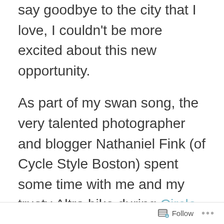say goodbye to the city that I love, I couldn't be more excited about this new opportunity.
As part of my swan song, the very talented photographer and blogger Nathaniel Fink (of Cycle Style Boston) spent some time with me and my trusty Altra bike during Circle the City's Open Streets festival. Nathaniel and I biked up and down Blue Hill Ave, which, for one day, became a pedestrian pathway between Dudley Street and Grove Hall
Follow ···